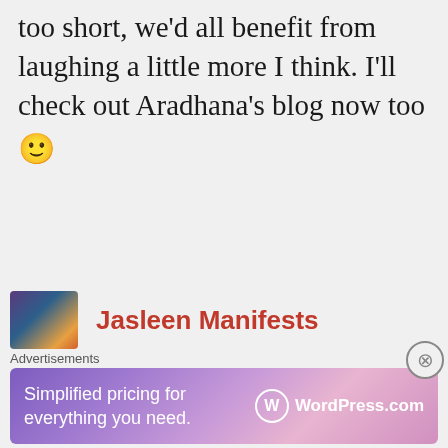too short, we'd all benefit from laughing a little more I think. I'll check out Aradhana's blog now too 🙂
Caz xx
★ Liked by 1 person
Log in to Reply
[Figure (photo): Profile photo thumbnail of Jasleen]
Jasleen Manifests
Advertisements
[Figure (infographic): WordPress.com advertisement banner: Simplified pricing for everything you need. WordPress.com logo.]